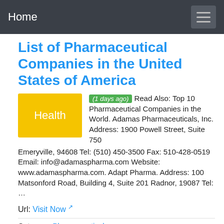Home
List of Pharmaceutical Companies in the United States of America
(1 days ago) Read Also: Top 10 Pharmaceutical Companies in the World. Adamas Pharmaceuticals, Inc. Address: 1900 Powell Street, Suite 750 Emeryville, 94608 Tel: (510) 450-3500 Fax: 510-428-0519 Email: info@adamaspharma.com Website: www.adamaspharma.com. Adapt Pharma. Address: 100 Matsonford Road, Building 4, Suite 201 Radnor, 19087 Tel: …
Url: Visit Now
Category: Pharmaceutical